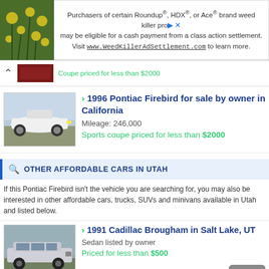[Figure (screenshot): Advertisement banner for Roundup/HDX/Ace weed killer class action settlement]
Purchasers of certain Roundup®, HDX®, or Ace® brand weed killer products may be eligible for a cash payment from a class action settlement. Visit www.WeedKillerAdSettlement.com to learn more.
[Figure (photo): Collapsed listing thumbnail of red vehicle]
[Figure (photo): White 1996 Pontiac Firebird sports coupe side view]
1996 Pontiac Firebird for sale by owner in California
Mileage: 246,000
Sports coupe priced for less than $2000
OTHER AFFORDABLE CARS IN UTAH
If this Pontiac Firebird isn't the vehicle you are searching for, you may also be interested in other affordable cars, trucks, SUVs and minivans available in Utah and listed below.
[Figure (photo): 1991 Cadillac Brougham sedan parked outdoors]
1991 Cadillac Brougham in Salt Lake, UT
Sedan listed by owner
Priced for less than $500
[Figure (photo): 2005 Ford Taurus SE partial view]
2005 Ford Taurus SE in Ogden, UT